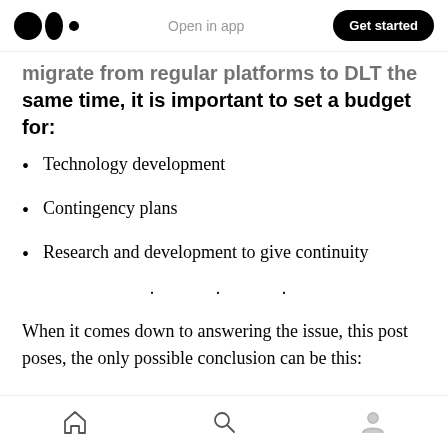Open in app | Get started
migrate from regular platforms to DLT the same time, it is important to set a budget for:
Technology development
Contingency plans
Research and development to give continuity
· · ·
When it comes down to answering the issue, this post poses, the only possible conclusion can be this:
Home | Search | Profile